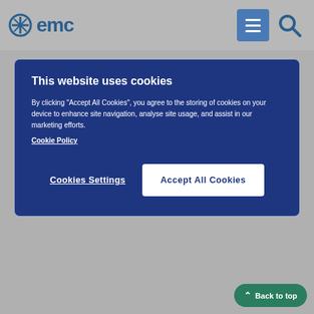emc
[Figure (screenshot): Cookie consent overlay on emc website with title 'This website uses cookies', description text, Cookie Policy link, Cookies Settings button, and Accept All Cookies button]
immediately.
Other side effects:
Very common (may affect more than 1 in 10 people)
vaginal yeast infection.
Common (may affect up to 1 in 10 people)
rash or redness of the penis or foreskin (yeast infection)
changes in urination (including urinating more frequently or in larger amounts, urgent need to urinate, need to urin…
constipation